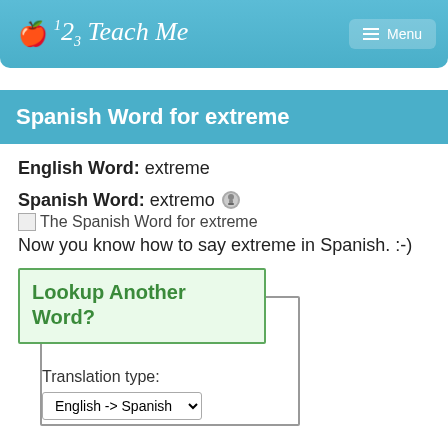123 Teach Me  Menu
Spanish Word for extreme
English Word: extreme
Spanish Word: extremo
The Spanish Word for extreme
Now you know how to say extreme in Spanish. :-)
Lookup Another Word?
Translation type:
English -> Spanish